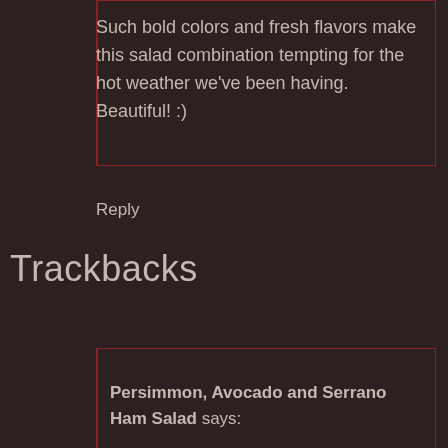Such bold colors and fresh flavors make this salad combination tempting for the hot weather we've been having. Beautiful! :)
Reply
Trackbacks
Persimmon, Avocado and Serrano Ham Salad says: